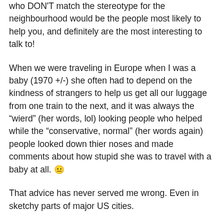who DON'T match the stereotype for the neighbourhood would be the people most likely to help you, and definitely are the most interesting to talk to!
When we were traveling in Europe when I was a baby (1970 +/-) she often had to depend on the kindness of strangers to help us get all our luggage from one train to the next, and it was always the “wierd” (her words, lol) looking people who helped while the “conservative, normal” (her words again) people looked down thier noses and made comments about how stupid she was to travel with a baby at all. 😐
That advice has never served me wrong. Even in sketchy parts of major US cities.